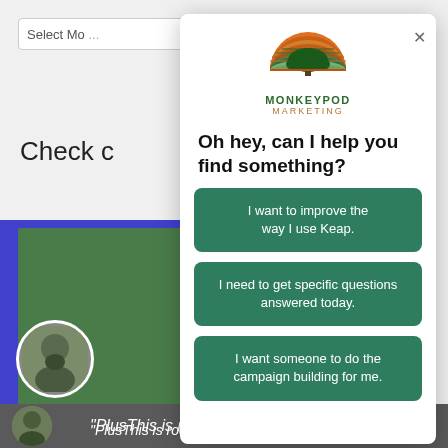[Figure (screenshot): Screenshot of a website with a modal dialog overlay. Background shows browser search bar with 'Select Mo...' text, partial page text 'Check c', blue/purple sidebar, and a person avatar. The modal contains a Monkeypod Marketing logo, a heading 'Oh hey, can I help you find something?', and three green call-to-action buttons.]
Oh hey, can I help you find something?
I want to improve the way I use Keap.
I need to get specific questions answered today.
I want someone to do the campaign building for me.
"PlusThis is rocket fuel